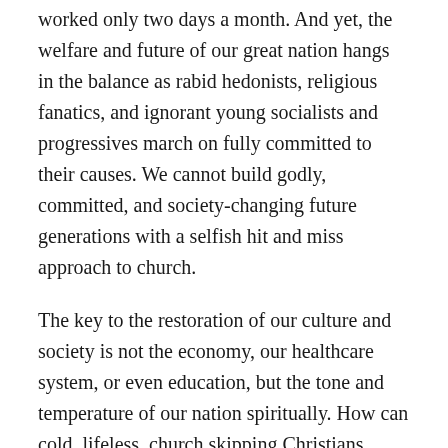worked only two days a month.  And yet, the welfare and future of our great nation hangs in the balance as rabid hedonists, religious fanatics, and ignorant young socialists and progressives march on fully committed to their causes.  We cannot build godly, committed, and society-changing future generations with a selfish hit and miss approach to church.
The key to the restoration of our culture and society is not the economy, our healthcare system, or even education, but the tone and temperature of our nation spiritually.  How can cold, lifeless, church skipping Christians possibly be the catalyst for fanning the flames of spiritual renewal and fire in Australia?  This coldness and lifelessness is reflected in the attitude of the Christian who says I don't need to attend church all that much because I can get my spiritual food online or through broadcast media.  The